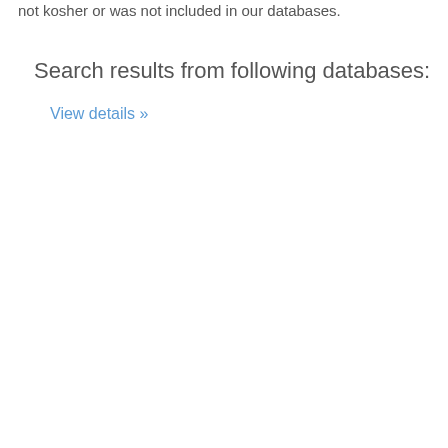not kosher or was not included in our databases.
Search results from following databases:
View details »